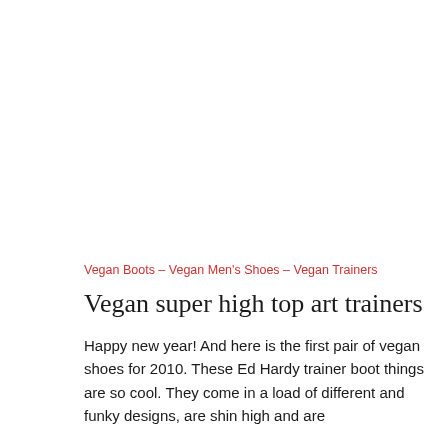Vegan Boots – Vegan Men's Shoes – Vegan Trainers
Vegan super high top art trainers
Happy new year! And here is the first pair of vegan shoes for 2010. These Ed Hardy trainer boot things are so cool. They come in a load of different and funky designs, are shin high and are
by VeganShoeAddict  -  January 1, 2010